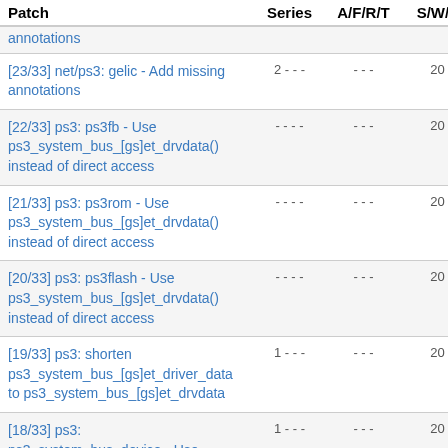| Patch | Series | A/F/R/T | S/W/F | Da |
| --- | --- | --- | --- | --- |
| annotations |  |  |  |  |
| [23/33] net/ps3: gelic - Add missing annotations | 2 - - - | - - - | 20 |
| [22/33] ps3: ps3fb - Use ps3_system_bus_[gs]et_drvdata() instead of direct access | - - - - | - - - | 20 |
| [21/33] ps3: ps3rom - Use ps3_system_bus_[gs]et_drvdata() instead of direct access | - - - - | - - - | 20 |
| [20/33] ps3: ps3flash - Use ps3_system_bus_[gs]et_drvdata() instead of direct access | - - - - | - - - | 20 |
| [19/33] ps3: shorten ps3_system_bus_[gs]et_driver_data to ps3_system_bus_[gs]et_drvdata | 1 - - - | - - - | 20 |
| [18/33] ps3: ps3_system_bus_device - Use dev_[gs]et_drvdata() instead of direct access | 1 - - - | - - - | 20 |
| [17/33] block/ps3: remove driver_data direct access of struct | - - - - | - - - | 20 |